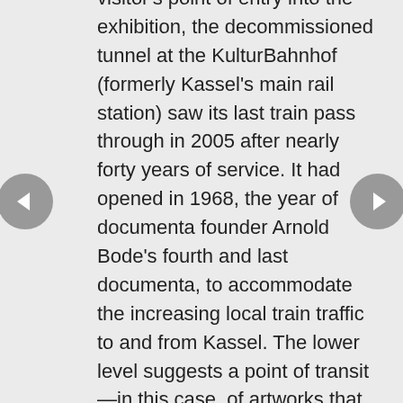visitor's point of entry into the exhibition, the decommissioned tunnel at the KulturBahnhof (formerly Kassel's main rail station) saw its last train pass through in 2005 after nearly forty years of service. It had opened in 1968, the year of documenta founder Arnold Bode's fourth and last documenta, to accommodate the increasing local train traffic to and from Kassel. The lower level suggests a point of transit—in this case, of artworks that have perhaps just arrived or are about to depart. The upper level, a former shopping arcade with the remains of a vandalized Kassel city plan rendered in colored glass by Dieter von Andrian (1925–1992), also functions as a threshold, across which the notion of learning and education is found to be continuously and necessarily in flux.